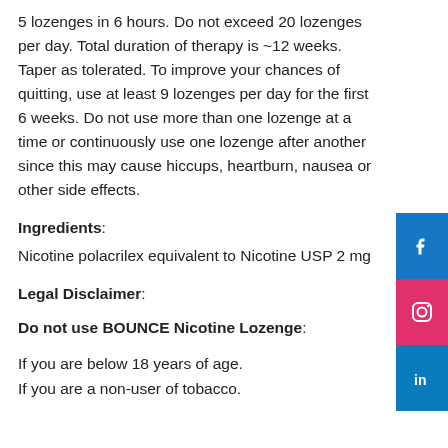5 lozenges in 6 hours. Do not exceed 20 lozenges per day. Total duration of therapy is ~12 weeks. Taper as tolerated. To improve your chances of quitting, use at least 9 lozenges per day for the first 6 weeks. Do not use more than one lozenge at a time or continuously use one lozenge after another since this may cause hiccups, heartburn, nausea or other side effects.
Ingredients:
Nicotine polacrilex equivalent to Nicotine USP 2 mg
Legal Disclaimer:
Do not use BOUNCE Nicotine Lozenge:
If you are below 18 years of age.
If you are a non-user of tobacco.
[Figure (infographic): Social media icons sidebar: Facebook (blue), Instagram (pink/red), LinkedIn (blue)]